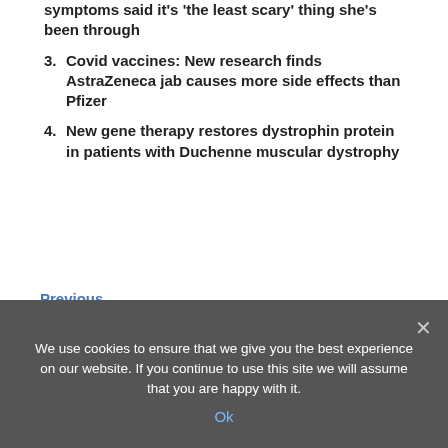symptoms said it's 'the least scary' thing she's been through
3. Covid vaccines: New research finds AstraZeneca jab causes more side effects than Pfizer
4. New gene therapy restores dystrophin protein in patients with Duchenne muscular dystrophy
Previous
Research highlights the need to include diverse populations in immunogenetic studies
Next
Supplements: The mineral that could reduce your risk of heart disease and anxiety
We use cookies to ensure that we give you the best experience on our website. If you continue to use this site we will assume that you are happy with it.
Ok